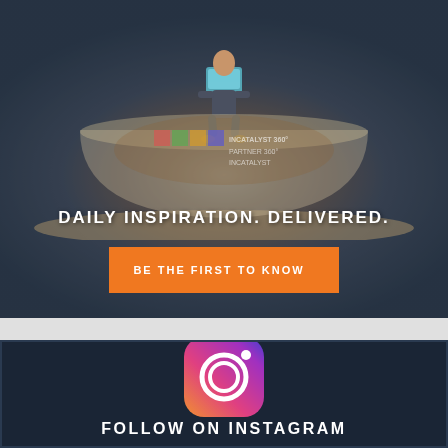[Figure (photo): Background photo of a coffee cup latte art with a composite of a person sitting on the cup rim holding a laptop, dark overlay applied]
DAILY INSPIRATION. DELIVERED.
BE THE FIRST TO KNOW
[Figure (photo): Instagram logo icon with gradient colors (pink/orange/purple) on dark navy background]
FOLLOW ON INSTAGRAM